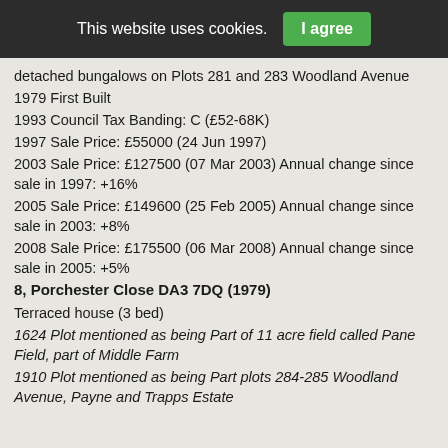This website uses cookies.  I agree
detached bungalows on Plots 281 and 283 Woodland Avenue
1979 First Built
1993 Council Tax Banding: C (£52-68K)
1997 Sale Price: £55000 (24 Jun 1997)
2003 Sale Price: £127500 (07 Mar 2003) Annual change since sale in 1997: +16%
2005 Sale Price: £149600 (25 Feb 2005) Annual change since sale in 2003: +8%
2008 Sale Price: £175500 (06 Mar 2008) Annual change since sale in 2005: +5%
8, Porchester Close DA3 7DQ (1979)
Terraced house (3 bed)
1624 Plot mentioned as being Part of 11 acre field called Pane Field, part of Middle Farm
1910 Plot mentioned as being Part plots 284-285 Woodland Avenue, Payne and Trapps Estate